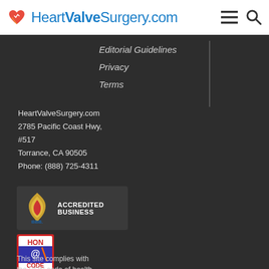HeartValveSurgery.com
Editorial Guidelines
Privacy
Terms
HeartValveSurgery.com
2785 Pacific Coast Hwy, #517
Torrance, CA 90505
Phone: (888) 725-4311
[Figure (logo): BBB Accredited Business badge with flame logo]
[Figure (logo): HON Code Certified 05/2019 badge]
This site complies with the HON code of health...